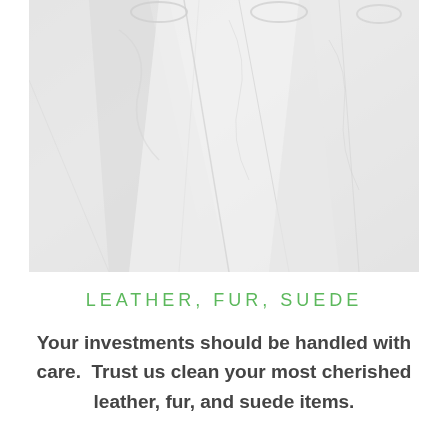[Figure (photo): Close-up photo of white garments hanging on hangers, covered in dry-cleaning plastic bags, against a light grey background.]
LEATHER,  FUR,  SUEDE
Your investments should be handled with care.  Trust us clean your most cherished leather, fur, and suede items.